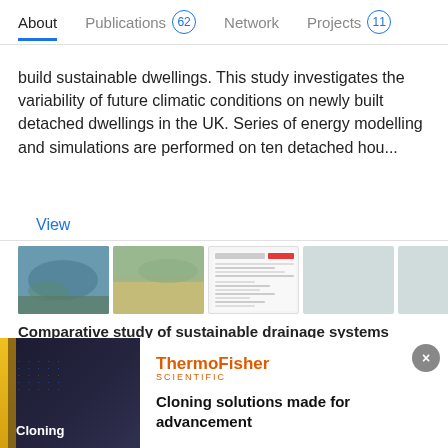About  Publications 62  Network  Projects 11
build sustainable dwellings. This study investigates the variability of future climatic conditions on newly built detached dwellings in the UK. Series of energy modelling and simulations are performed on ten detached hou...
View
[Figure (photo): Five thumbnail images of publication: two aerial flood photos, one document page, and two grey placeholder thumbnails]
Comparative study of sustainable drainage systems
Article  Full-text available
Advertisement
Jun 2013
[Figure (photo): ThermoFisher Scientific advertisement banner with dark background, cloning image on left, and text 'Cloning solutions made for advancement' on right]